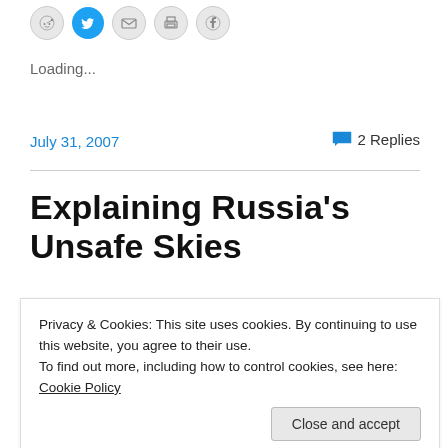[Figure (other): Social sharing icons: Reddit, Twitter, Email, Print, Facebook]
Loading...
July 31, 2007
2 Replies
Explaining Russia's Unsafe Skies
[Figure (photo): Partial photograph of aircraft or airfield, partially obscured by cookie banner]
Privacy & Cookies: This site uses cookies. By continuing to use this website, you agree to their use.
To find out more, including how to control cookies, see here: Cookie Policy
Close and accept
[Figure (photo): Bottom partial photograph of cargo plane]
cargo plane